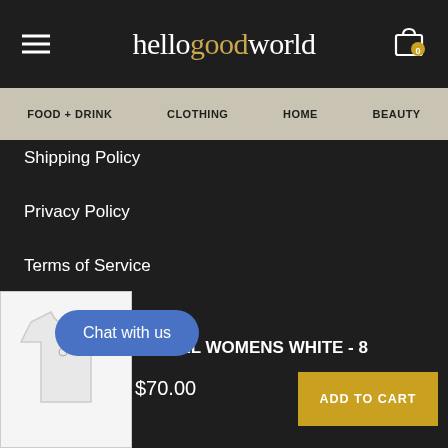hellogoodworld
FOOD + DRINK   CLOTHING   HOME   BEAUTY
Shipping Policy
Privacy Policy
Terms of Service
TSHELL WOMENS WHITE - 8
$70.00
Chat with us
ADD TO CART